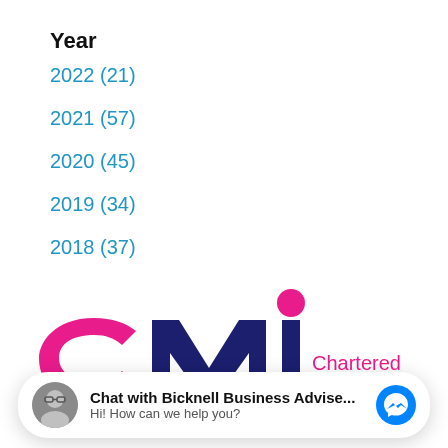Year
2022 (21)
2021 (57)
2020 (45)
2019 (34)
2018 (37)
[Figure (logo): CMI Chartered Management Institute logo with pink and dark navy lettering]
Chat with Bicknell Business Advise... Hi! How can we help you?